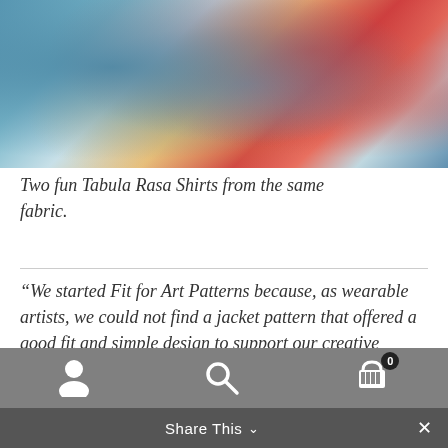[Figure (photo): Colorful patterned shirts and jackets hanging on a rack — tie-dye and floral fabric in blues, reds, yellows, and greens (Tabula Rasa Shirts from the same fabric)]
Two fun Tabula Rasa Shirts from the same fabric.
“We started Fit for Art Patterns because, as wearable artists, we could not find a jacket pattern that offered a good fit and simple design to support our creative sewing.  Our core
Share This  [navigation icons: person, search, cart (0)]